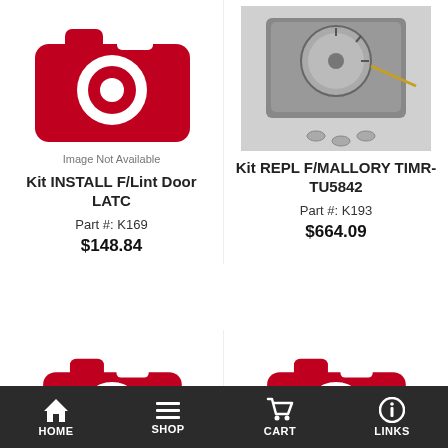[Figure (photo): Image Not Available placeholder with red camera icon]
Image Not Available
[Figure (photo): Photo of a timer replacement kit part (MALLORY TIMR-TU5842) showing a mechanical timer module with screws]
Kit INSTALL F/Lint Door LATC
Part #: K169
$148.84
Kit REPL F/MALLORY TIMR-TU5842
Part #: K193
$664.09
[Figure (photo): Image Not Available placeholder with red camera icon (partial, bottom of page)]
[Figure (photo): Image Not Available placeholder with red camera icon (partial, bottom of page)]
HOME | SHOP | CART | LINKS